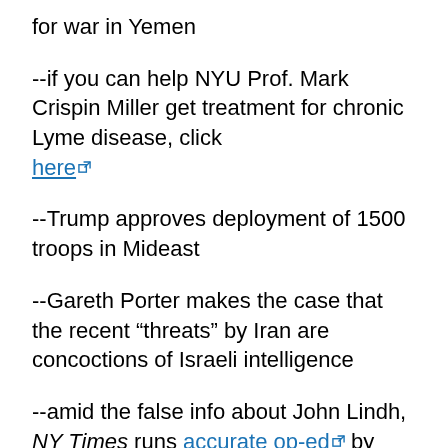for war in Yemen
--if you can help NYU Prof. Mark Crispin Miller get treatment for chronic Lyme disease, click here
--Trump approves deployment of 1500 troops in Mideast
--Gareth Porter makes the case that the recent “threats” by Iran are concoctions of Israeli intelligence
--amid the false info about John Lindh, NY Times runs accurate op-ed by John Wray
--after protracted negotiations with Trump over